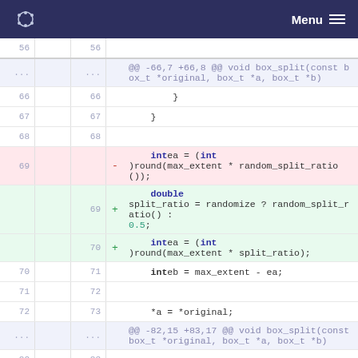Menu
[Figure (screenshot): Code diff view showing changes to box_split function, replacing int ea calculation with double split_ratio variable and updated int ea calculation.]